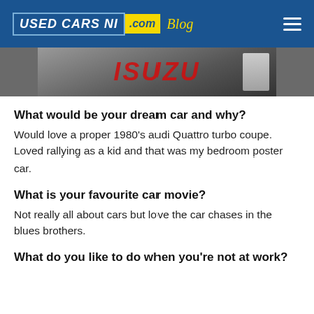USED CARS NI .com Blog
[Figure (photo): Partial photo showing a red car logo sign and a person in a dealership or car show setting]
What would be your dream car and why?
Would love a proper 1980's audi Quattro turbo coupe. Loved rallying as a kid and that was my bedroom poster car.
What is your favourite car movie?
Not really all about cars but love the car chases in the blues brothers.
What do you like to do when you're not at work?